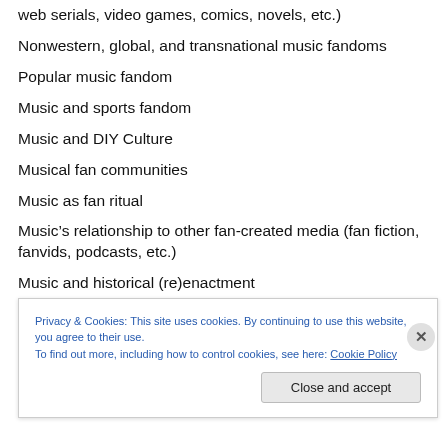web serials, video games, comics, novels, etc.)
Nonwestern, global, and transnational music fandoms
Popular music fandom
Music and sports fandom
Music and DIY Culture
Musical fan communities
Music as fan ritual
Music’s relationship to other fan-created media (fan fiction, fanvids, podcasts, etc.)
Music and historical (re)enactment
Music as a site for national, communal, and personal
Privacy & Cookies: This site uses cookies. By continuing to use this website, you agree to their use.
To find out more, including how to control cookies, see here: Cookie Policy
Close and accept